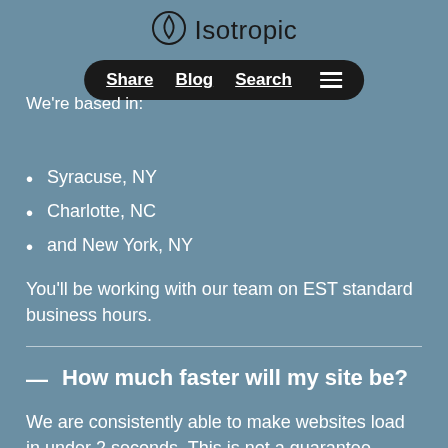Isotropic — Share | Blog | Search
We're based in:
Syracuse, NY
Charlotte, NC
and New York, NY
You'll be working with our team on EST standard business hours.
How much faster will my site be?
We are consistently able to make websites load in under 2 seconds. This is not a guarantee, because every website is different, but we're